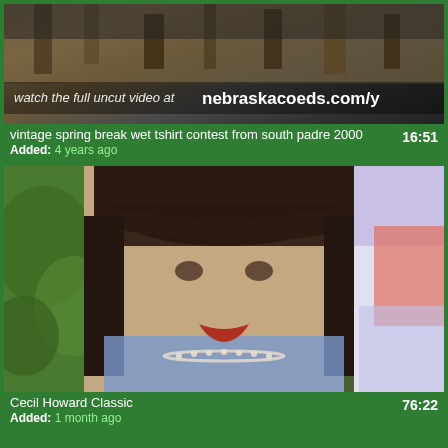[Figure (screenshot): Video thumbnail showing outdoor scene with text overlay 'watch the full uncut video at nebraskacoeds.com/y']
vintage spring break wet tshirt contest from south padre 2000
Added: 4 years ago
16:51
[Figure (screenshot): Video thumbnail showing close-up of a woman with dark hair and bangs, wearing a blue top and pearl necklace, with colorful background]
Cecil Howard Classic
Added: 1 month ago
76:22